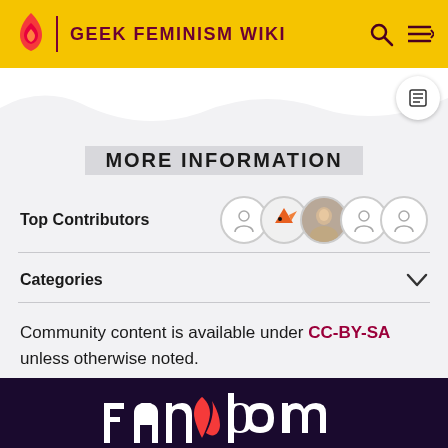GEEK FEMINISM WIKI
MORE INFORMATION
Top Contributors
Categories
Community content is available under CC-BY-SA unless otherwise noted.
[Figure (logo): Fandom footer logo partial, white text on dark purple background]
Fandom logo footer